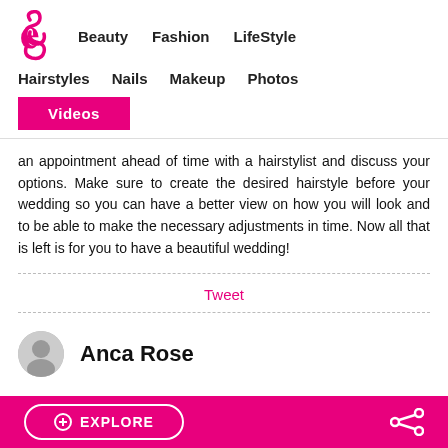Beauty  Fashion  LifeStyle
Hairstyles  Nails  Makeup  Photos
Videos
an appointment ahead of time with a hairstylist and discuss your options. Make sure to create the desired hairstyle before your wedding so you can have a better view on how you will look and to be able to make the necessary adjustments in time. Now all that is left is for you to have a beautiful wedding!
Tweet
Anca Rose
EXPLORE